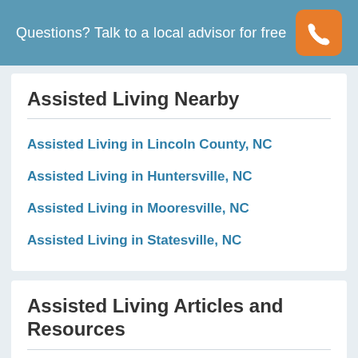Questions? Talk to a local advisor for free
Assisted Living Nearby
Assisted Living in Lincoln County, NC
Assisted Living in Huntersville, NC
Assisted Living in Mooresville, NC
Assisted Living in Statesville, NC
Assisted Living Articles and Resources
Find Assisted Living